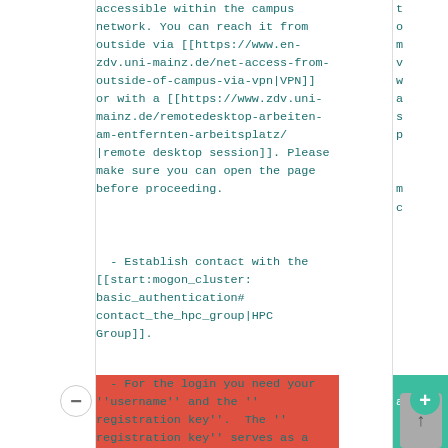accessible within the campus network. You can reach it from outside via [[https://www.en-zdv.uni-mainz.de/net-access-from-outside-of-campus-via-vpn|VPN]] or with a [[https://www.zdv.uni-mainz.de/remotedesktop-arbeiten-am-entfernten-arbeitsplatz/|remote desktop session]]. Please make sure you can open the page before proceeding.
- Establish contact with the [[start:mogon_cluster:basic_authentication#contact_the_hpc_group|HPC Group]].
- For the login you need your ''username'' and the ''registration key''.  The ''registration key'' serves as a password for the login to